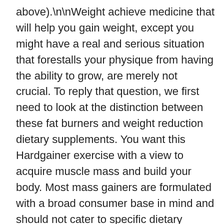above).\n\nWeight achieve medicine that will help you gain weight, except you might have a real and serious situation that forestalls your physique from having the ability to grow, are merely not crucial. To reply that question, we first need to look at the distinction between these fat burners and weight reduction dietary supplements. You want this Hardgainer exercise with a view to acquire muscle mass and build your body. Most mass gainers are formulated with a broad consumer base in mind and should not cater to specific dietary needs. Nonetheless, using the heaviest potential weight you should use with eight to 10 repetitions is one solution to significantly speed up muscle progress. Insulin Resistance can even trigger stress and anxiety, trigger fatigue, starvation and cravings, poor sleep high quality and different symptoms all which drive emotional decisions like overeating, bingeing and cravings for fatty or high sugar foods. Individuals use them for a wide range of causes — to drop a few pounds, to improve sports activities efficiency and construct muscle mass, and for general